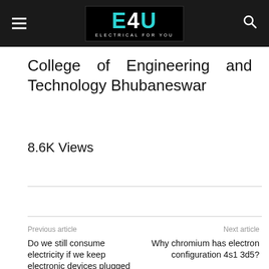[Figure (logo): E4U Electrical For You logo in a black box with teal and white text, on a dark navigation bar with hamburger menu and search icon]
College of Engineering and Technology Bhubaneswar
8.6K Views
[Figure (other): Facebook Like button showing Like 0]
Previous article: Do we still consume electricity if we keep electronic devices plugged in | Next article: Why chromium has electron configuration 4s1 3d5?